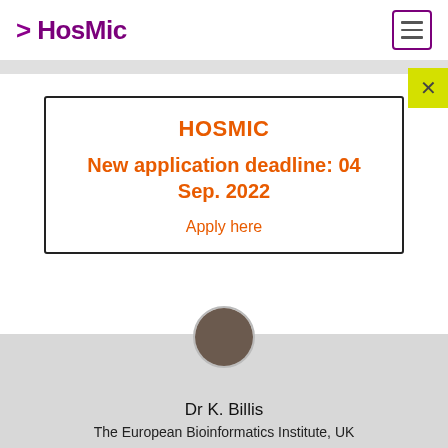HosMic
HOSMIC
New application deadline: 04 Sep. 2022
Apply here
Dr K. Billis
The European Bioinformatics Institute, UK